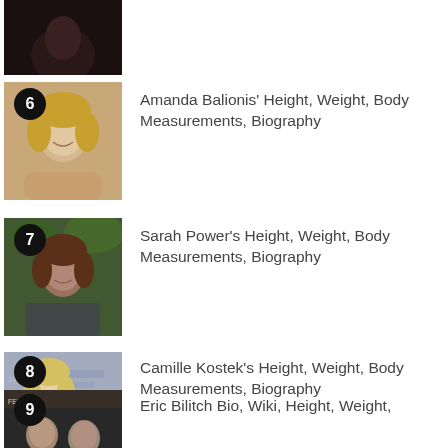[Figure (photo): Partial photo of a person (item 5, cropped at top of page)]
6 Amanda Balionis' Height, Weight, Body Measurements, Biography
[Figure (photo): Photo of Amanda Balionis, smiling woman with blonde hair]
7 Sarah Power's Height, Weight, Body Measurements, Biography
[Figure (photo): Photo of Sarah Power, woman with brown hair, outdoor background]
8 Camille Kostek's Height, Weight, Body Measurements, Biography
[Figure (photo): Photo of Camille Kostek, blonde woman in blue dress at event]
9 Eric Bilitch Bio, Wiki, Height, Weight,
[Figure (photo): Partial photo of Eric Bilitch, man at festival event (cropped at bottom)]